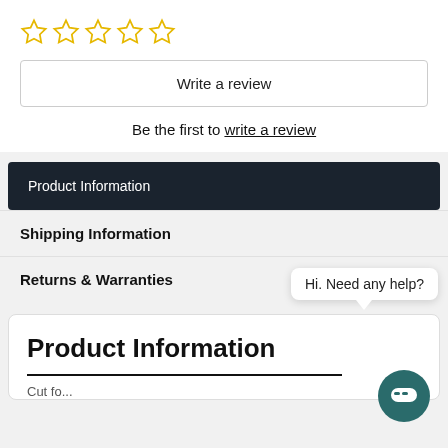[Figure (other): Five empty star rating icons in yellow outline]
Write a review
Be the first to write a review
Product Information
Shipping Information
Returns & Warranties
Hi. Need any help?
Product Information